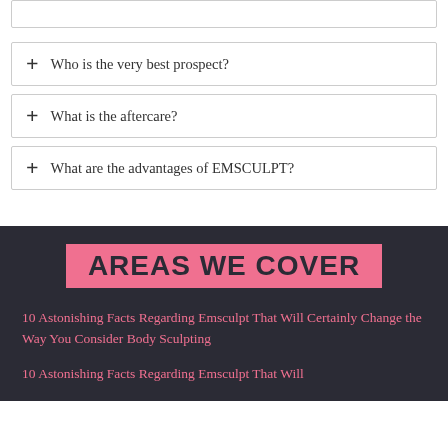Who is the very best prospect?
What is the aftercare?
What are the advantages of EMSCULPT?
AREAS WE COVER
10 Astonishing Facts Regarding Emsculpt That Will Certainly Change the Way You Consider Body Sculpting
10 Astonishing Facts Regarding Emsculpt That Will